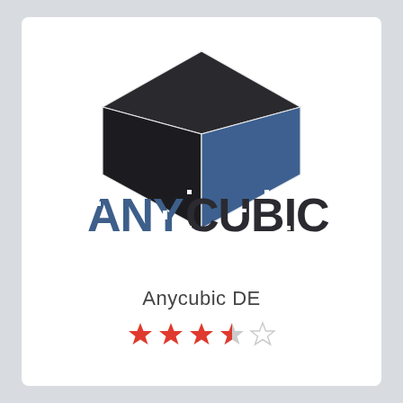[Figure (logo): Anycubic 3D cube logo with dark charcoal/black top and left faces and a blue right face, with the ANYCUBIC text logo below in blue (ANY) and dark (CUBIC) stencil-style letters]
Anycubic DE
[Figure (other): 3.5 out of 5 star rating shown as 3 filled red stars, 1 half-red star, and 1 empty star outline]